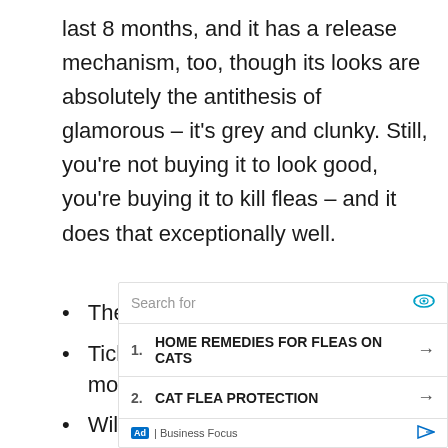last 8 months, and it has a release mechanism, too, though its looks are absolutely the antithesis of glamorous – it's grey and clunky. Still, you're not buying it to look good, you're buying it to kill fleas – and it does that exceptionally well.
The best in the business
Tick and flea protection for 8 months
Will leave no unwanted pest alive
[Figure (other): Advertisement overlay with search bar showing 'Search for' placeholder, two ad links: 1. HOME REMEDIES FOR FLEAS ON CATS, 2. CAT FLEA PROTECTION, and footer showing 'Ad | Business Focus']